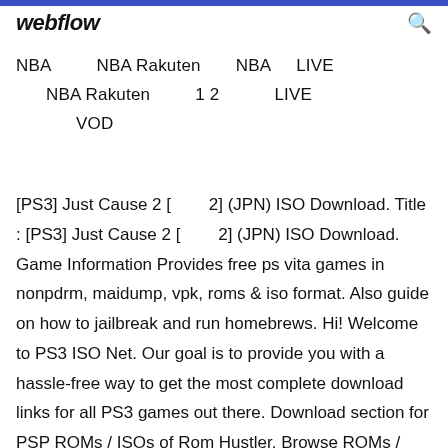webflow
NBA    NBA Rakuten    NBA    LIVE
   NBA Rakuten       1 2        LIVE
        VOD
[PS3] Just Cause 2 [　　　　2] (JPN) ISO Download. Title : [PS3] Just Cause 2 [　　　　2] (JPN) ISO Download. Game Information Provides free ps vita games in nonpdrm, maidump, vpk, roms & iso format. Also guide on how to jailbreak and run homebrews. Hi! Welcome to PS3 ISO Net. Our goal is to provide you with a hassle-free way to get the most complete download links for all PS3 games out there. Download section for PSP ROMs / ISOs of Rom Hustler. Browse ROMs / ISOs by download